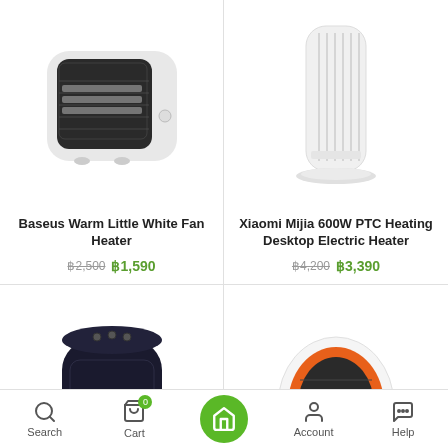[Figure (photo): Baseus Warm Little White Fan Heater product image - small white square-ish heater with mesh front]
Baseus Warm Little White Fan Heater
฿2,500 ฿1,590
[Figure (photo): Xiaomi Mijia 600W PTC Heating Desktop Electric Heater - tall slim white tower heater]
Xiaomi Mijia 600W PTC Heating Desktop Electric Heater
฿4,200 ฿3,390
[Figure (photo): Black cylindrical space heater with DO NOT COVER text and controls on top]
[Figure (photo): White and orange oval/egg-shaped small heater with mesh heating element]
Search   Cart   Home   Account   Help